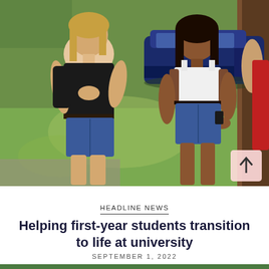[Figure (photo): Two young women standing outdoors on a sunny day near a tree and a parked dark blue car. The woman on the left wears a black sleeveless top and denim shorts and appears to be speaking with her hand on her chest. The woman on the right wears a white crop top and denim shorts and is listening. Other people are visible in the background near the car.]
HEADLINE NEWS
Helping first-year students transition to life at university
SEPTEMBER 1, 2022